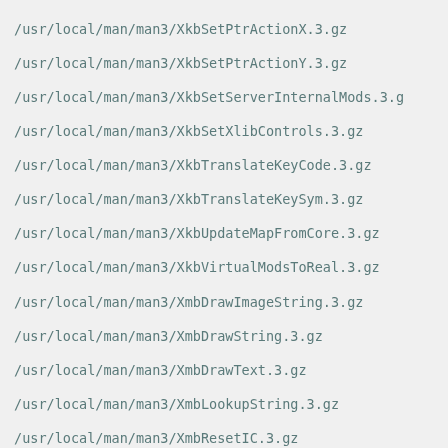/usr/local/man/man3/XkbSetPtrActionX.3.gz
/usr/local/man/man3/XkbSetPtrActionY.3.gz
/usr/local/man/man3/XkbSetServerInternalMods.3.g
/usr/local/man/man3/XkbSetXlibControls.3.gz
/usr/local/man/man3/XkbTranslateKeyCode.3.gz
/usr/local/man/man3/XkbTranslateKeySym.3.gz
/usr/local/man/man3/XkbUpdateMapFromCore.3.gz
/usr/local/man/man3/XkbVirtualModsToReal.3.gz
/usr/local/man/man3/XmbDrawImageString.3.gz
/usr/local/man/man3/XmbDrawString.3.gz
/usr/local/man/man3/XmbDrawText.3.gz
/usr/local/man/man3/XmbLookupString.3.gz
/usr/local/man/man3/XmbResetIC.3.gz
/usr/local/man/man3/XmbSetWMProperties.3.gz
/usr/local/man/man3/XmbTextEscapement.3.gz
/usr/local/man/man3/XmbTextExtents.3.gz
/usr/local/man/man3/XmbTextListToTextProperty.3.
/usr/local/man/man3/XmbTextPerCharExtents.3.gz
/usr/local/man/man3/XmbTextPropertyToTextList.3.
/usr/local/man/man3/XrmCombineDatabase.3.gz
/usr/local/man/man3/XrmCombineFileDatabase.3.gz
/usr/local/man/man3/XrmDestroyDatabase.3.gz
/usr/local/man/man3/XrmEnumerateDatabase.3.gz